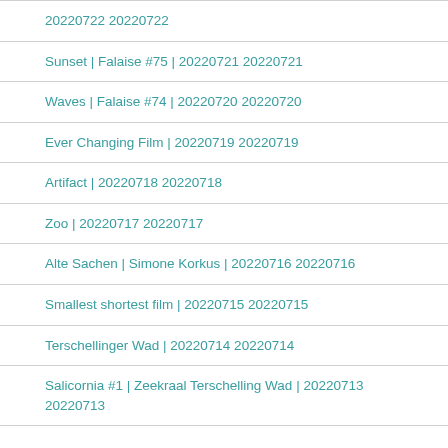20220722 20220722
Sunset | Falaise #75 | 20220721 20220721
Waves | Falaise #74 | 20220720 20220720
Ever Changing Film | 20220719 20220719
Artifact | 20220718 20220718
Zoo | 20220717 20220717
Alte Sachen | Simone Korkus | 20220716 20220716
Smallest shortest film | 20220715 20220715
Terschellinger Wad | 20220714 20220714
Salicornia #1 | Zeekraal Terschelling Wad | 20220713 20220713